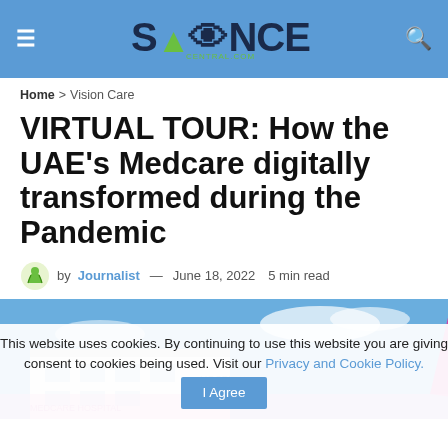Science Central — ScienceCentral.com
Home > Vision Care
VIRTUAL TOUR: How the UAE's Medcare digitally transformed during the Pandemic
by Journalist — June 18, 2022  5 min read
[Figure (photo): Exterior of Medcare Hospital building with large pink Medcare sign against a blue sky]
This website uses cookies. By continuing to use this website you are giving consent to cookies being used. Visit our Privacy and Cookie Policy.  I Agree